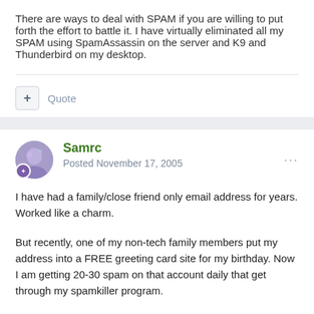There are ways to deal with SPAM if you are willing to put forth the effort to battle it. I have virtually eliminated all my SPAM using SpamAssassin on the server and K9 and Thunderbird on my desktop.
Samrc
Posted November 17, 2005
I have had a family/close friend only email address for years. Worked like a charm.
But recently, one of my non-tech family members put my address into a FREE greeting card site for my birthday. Now I am getting 20-30 spam on that account daily that get through my spamkiller program.